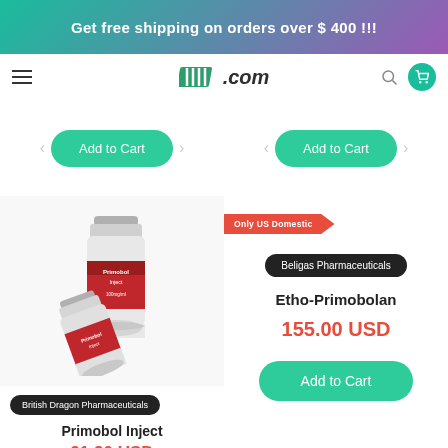Get free shipping on orders over $ 400 !!!
.com
Add to Cart
Add to Cart
[Figure (photo): Two red-labeled vials of Primobol Inject injection product]
British Dragon Pharmaceuticals
Primobol Inject
91.20 USD
Only US Domestic
Beligas Pharmaceuticals
Etho-Primobolan
155.00 USD
Add to Cart